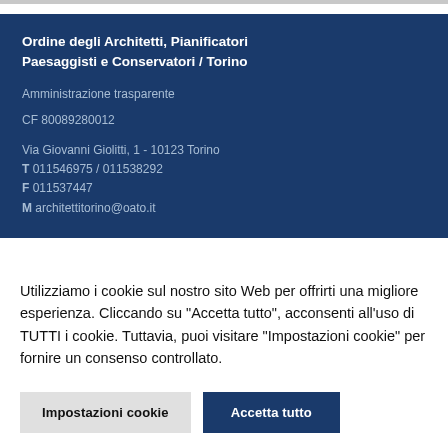Ordine degli Architetti, Pianificatori Paesaggisti e Conservatori / Torino
Amministrazione trasparente
CF 80089280012
Via Giovanni Giolitti, 1 - 10123 Torino
T 011546975 / 011538292
F 011537447
M architettitorino@oato.it
Utilizziamo i cookie sul nostro sito Web per offrirti una migliore esperienza. Cliccando su "Accetta tutto", acconsenti all'uso di TUTTI i cookie. Tuttavia, puoi visitare "Impostazioni cookie" per fornire un consenso controllato.
Impostazioni cookie
Accetta tutto